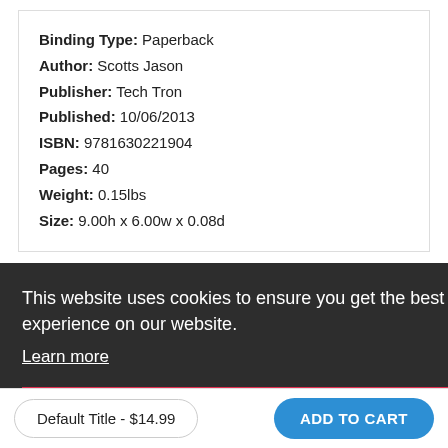Binding Type: Paperback
Author: Scotts Jason
Publisher: Tech Tron
Published: 10/06/2013
ISBN: 9781630221904
Pages: 40
Weight: 0.15lbs
Size: 9.00h x 6.00w x 0.08d
Related Products
This website uses cookies to ensure you get the best experience on our website. Learn more
Got it!
Default Title - $14.99
ADD TO CART